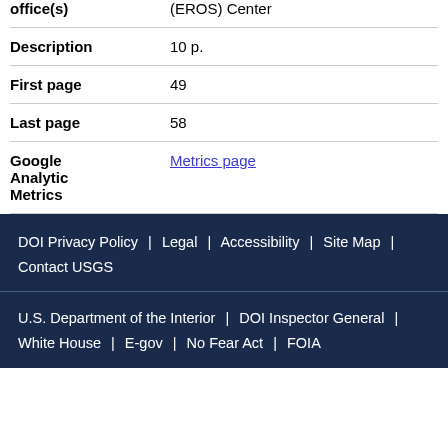| Field | Value |
| --- | --- |
| office(s) | (EROS) Center |
| Description | 10 p. |
| First page | 49 |
| Last page | 58 |
| Google Analytic Metrics | Metrics page |
DOI Privacy Policy | Legal | Accessibility | Site Map | Contact USGS
U.S. Department of the Interior | DOI Inspector General | White House | E-gov | No Fear Act | FOIA